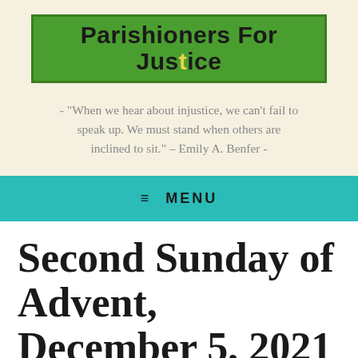[Figure (logo): Parishioners For Justice logo — green rectangle with bold black text and yellow cross in the 't' of Justice]
- “When we hear about injustice, we can’t fail to speak up. We must stand when others are inclined to sit.” – Emily A. Benfer -
≡ MENU
Second Sunday of Advent, December 5, 2021
December 5, 2021